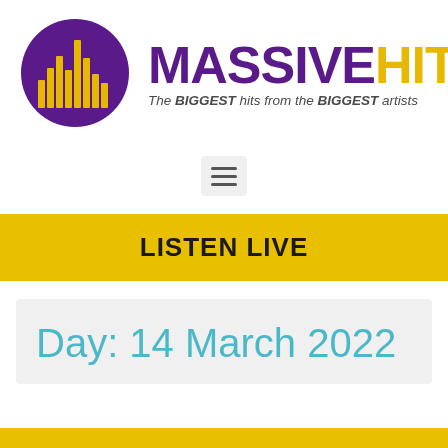[Figure (logo): Massive Hits radio station logo — purple circle with yellow vertical bar chart styled as letter M, beside the text MASSIVE HITS in purple and gold with italic tagline]
[Figure (other): Hamburger menu button — three horizontal lines in a light grey rounded square]
LISTEN LIVE
Day: 14 March 2022